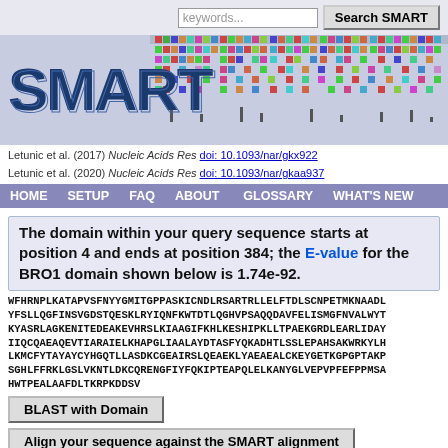[Figure (screenshot): SMART database website header with search box and 'Search SMART' button]
[Figure (logo): SMART logo with colorful multiple sequence alignment background banner]
Letunic et al. (2017) Nucleic Acids Res doi: 10.1093/nar/gkx922
Letunic et al. (2020) Nucleic Acids Res doi: 10.1093/nar/gkaa937
HOME   SETUP   FAQ   ABOUT   GLOSSARY   WHAT'S NEW
The domain within your query sequence starts at position 4 and ends at position 384; the E-value for the BRO1 domain shown below is 1.74e-92.
WFHRNPLKATAPVSFNYYGMITGPPASKICNDLRSARTRLLELFTDLSCNPETMKNAADL
YFSLLQGFINSVGDSTQESKLRYIQNFKWTDTLQGHVPSAQQDAVFELISMGFNVALWYT
KYASRLAGKENITEDEAKEVHRSLKIAAGIFKHLKESHIPKLLTPAEKGRDLEARLIDAY
IIQCQAEAQEVTIARAIELKHAPGLIAALAYDTASFYQKADHTLSSLEPAHSAKWRKYLH
LKMCFYTAYAYCYHGQTLLASDKCGEAIRSLQEAEKLYAEAEALCKEYGETKGPGPTAKP
SGHLFFRKLGSLVKNTLDKCQRENGFIYFQKIPTEAPQLELKANYGLVEPVPFEFPPMSA
HWTPEALAAFDLTKRPKDDSV
BLAST with Domain
Align your sequence against the SMART alignment
[Figure (other): BRO1 domain label box (blue) and green arrow shape at the bottom of the page]